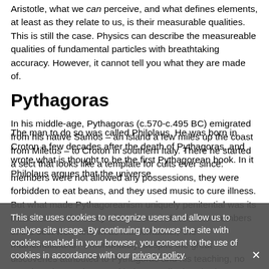Aristotle, what we can perceive, and what defines elements, at least as they relate to us, is their measurable qualities. This is still the case. Physics can describe the measureable qualities of fundamental particles with breathtaking accuracy. However, it cannot tell you what they are made of.
Pythagoras
In his middle-age, Pythagoras (c.570-c.495 BC) emigrated from his native Samos – an island a few miles up the coast from Miletus – to Croton in southern Italy. There he started a sect that looks like a template for cults ever since: members were not allowed any possessions, they were forbidden to eat beans, and they used music to cure illness. But what made Pythagoreanism uniquely penitential was its insistence on the study of numbers; indeed, elite members of the sect were known as mathematikoi, 'the mathematicians'. Unfortunately, despite the great discoveries attributed to Pythagoras and his teaching, no one thought to write any of it down until a hundred years after the event.
The man to do so was called Philolaus. He was born in Croton a few decades after the death of Pythagoras, and wrote what is thought to be the first Pythagorean book. In it Philolaus argues that the universe
This site uses cookies to recognize users and allow us to analyse site usage. By continuing to browse the site with cookies enabled in your browser, you consent to the use of cookies in accordance with our privacy policy.